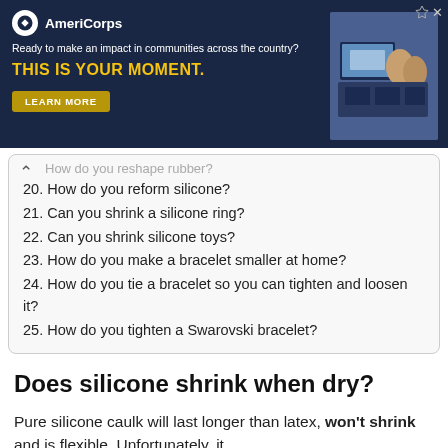[Figure (other): AmeriCorps advertisement banner with dark navy background. Logo, tagline 'Ready to make an impact in communities across the country?', headline 'THIS IS YOUR MOMENT.', a 'LEARN MORE' button, and a photo of people at computers on the right.]
20. How do you reform silicone?
21. Can you shrink a silicone ring?
22. Can you shrink silicone toys?
23. How do you make a bracelet smaller at home?
24. How do you tie a bracelet so you can tighten and loosen it?
25. How do you tighten a Swarovski bracelet?
Does silicone shrink when dry?
Pure silicone caulk will last longer than latex, won't shrink and is flexible. Unfortunately, it